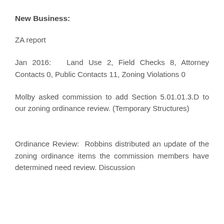New Business:
ZA report
Jan 2016:  Land Use 2, Field Checks 8, Attorney Contacts 0, Public Contacts 11, Zoning Violations 0
Molby asked commission to add Section 5.01.01.3.D to our zoning ordinance review. (Temporary Structures)
Ordinance Review:  Robbins distributed an update of the zoning ordinance items the commission members have determined need review. Discussion